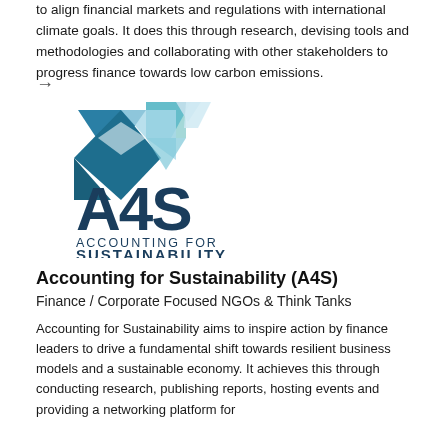to align financial markets and regulations with international climate goals. It does this through research, devising tools and methodologies and collaborating with other stakeholders to progress finance towards low carbon emissions.
[Figure (logo): A4S Accounting for Sustainability logo — geometric diamond/polygon shape in teal, dark teal and light blue tones on the left, with 'A4S' in large dark teal letters and 'ACCOUNTING FOR SUSTAINABILITY' in smaller dark teal capitals below.]
Accounting for Sustainability (A4S)
Finance / Corporate Focused NGOs & Think Tanks
Accounting for Sustainability aims to inspire action by finance leaders to drive a fundamental shift towards resilient business models and a sustainable economy. It achieves this through conducting research, publishing reports, hosting events and providing a networking platform for